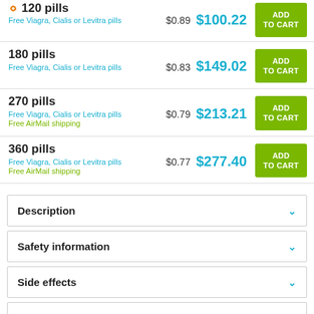| Pills | Per pill | Price | Action |
| --- | --- | --- | --- |
| 120 pills | $0.89 | $100.22 | ADD TO CART |
| 180 pills | $0.83 | $149.02 | ADD TO CART |
| 270 pills | $0.79 | $213.21 | ADD TO CART |
| 360 pills | $0.77 | $277.40 | ADD TO CART |
Description
Safety information
Side effects
Packaging
ALSO YOU MAY LIKE: